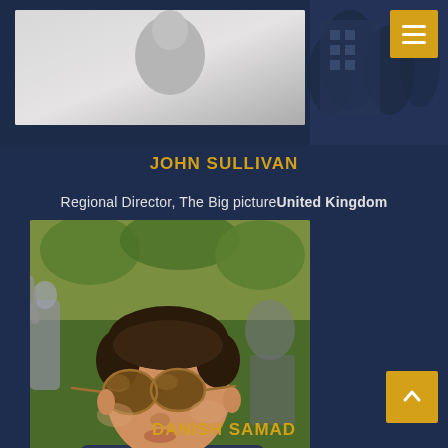[Figure (photo): Top banner showing partial grey/white photo strip of a person, with crowd/event background behind]
JOHN SULLIVAN
Regional Director, The Big picture United Kingdom
[Figure (photo): Profile photo of a man wearing aviator sunglasses, looking upward, with people in background]
DANISH SAMAD